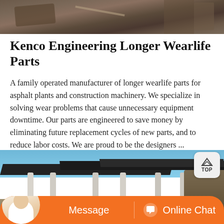[Figure (photo): Partial view of industrial/construction machinery at the top of the page]
Kenco Engineering Longer Wearlife Parts
A family operated manufacturer of longer wearlife parts for asphalt plants and construction machinery. We specialize in solving wear problems that cause unnecessary equipment downtime. Our parts are engineered to save money by eliminating future replacement cycles of new parts, and to reduce labor costs. We are proud to be the designers ...
[Figure (photo): Outdoor industrial screening/conveying equipment with white structural supports under a dark roof canopy, set against a blue sky with rocky terrain in the background]
Message   Online Chat